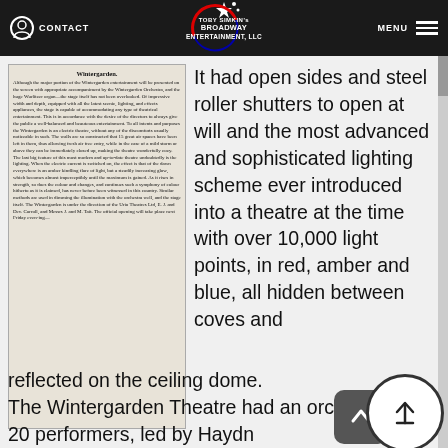CONTACT | TOBY SIMKIN's BROADWAY ENTERTAINMENT, LLC | MENU
[Figure (photo): Newspaper clipping with headline 'Wintergarden.' describing the theatre's features including the Wintergarden Orchestra, Wurlitzer organ, lighting, and management.]
It had open sides and steel roller shutters to open at will and the most advanced and sophisticated lighting scheme ever introduced into a theatre at the time with over 10,000 light points, in red, amber and blue, all hidden between coves and reflected on the ceiling dome.
The Wintergarden Theatre had an orchestra of 20 performers, led by Haydn